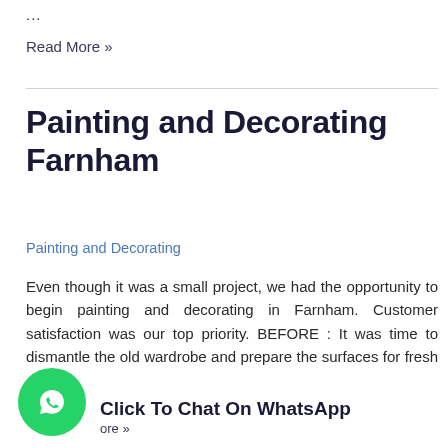...
Read More »
Painting and Decorating Farnham
Painting and Decorating
Even though it was a small project, we had the opportunity to begin painting and decorating in Farnham. Customer satisfaction was our top priority. BEFORE : It was time to dismantle the old wardrobe and prepare the surfaces for fresh paint. We have painted with two coats of fresh Johnstone's acrylic durable matt paint, which ...
Click To Chat On WhatsApp